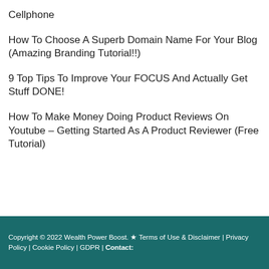Cellphone
How To Choose A Superb Domain Name For Your Blog (Amazing Branding Tutorial!!)
9 Top Tips To Improve Your FOCUS And Actually Get Stuff DONE!
How To Make Money Doing Product Reviews On Youtube – Getting Started As A Product Reviewer (Free Tutorial)
Copyright © 2022 Wealth Power Boost. ★ Terms of Use & Disclaimer | Privacy Policy | Cookie Policy | GDPR | Contact: